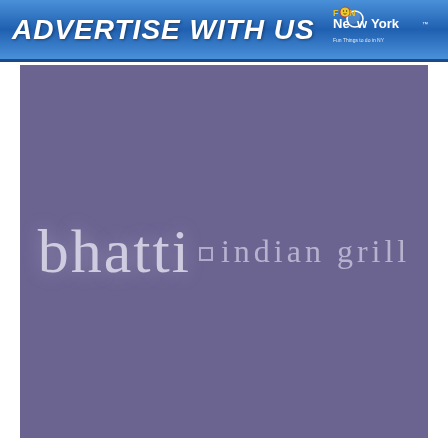ADVERTISE WITH US — FUN New York™
[Figure (logo): Bhatti Indian Grill logo on purple/mauve background — text reads 'bhatti • indian grill' in light semi-transparent serif font]